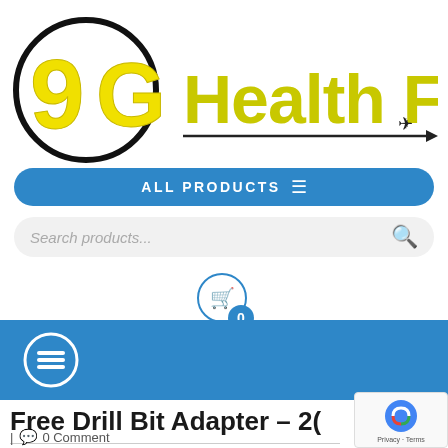[Figure (logo): 9G Health Foods logo with yellow stylized '9G' letters inside a black circle and 'Health Foods' in yellow-green text with a horizontal arrow line]
ALL PRODUCTS ≡
Search products...
[Figure (illustration): Shopping cart icon in a circle with blue badge showing 0]
[Figure (illustration): Hamburger menu icon (three horizontal lines) in a white circle on blue background bar]
Free Drill Bit Adapter – 2(
| 0 Comment